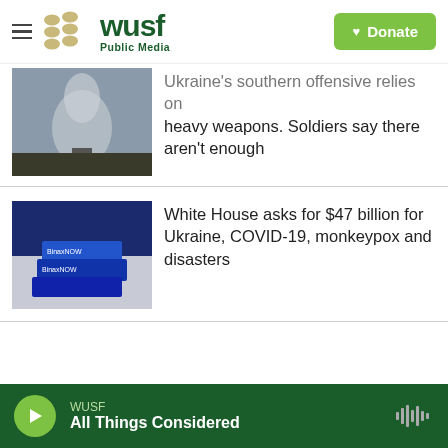[Figure (logo): WUSF Public Media logo with golden dots and green text, hamburger menu, and green Donate button]
Ukraine's southern offensive relies on heavy weapons. Soldiers say there aren't enough
White House asks for $47 billion for Ukraine, COVID-19, monkeypox and disasters
WUSF / All Things Considered — audio player bar